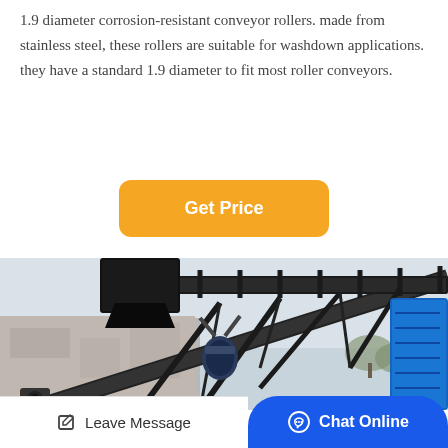1.9 diameter corrosion-resistant conveyor rollers. made from stainless steel, these rollers are suitable for washdown applications. they have a standard 1.9 diameter to fit most roller conveyors.
[Figure (other): Orange 'Get Price' button centered on page]
[Figure (photo): Industrial conveyor system with steel frame structure, machinery, and blue component visible, photographed outdoors against a light grey sky with trees in background.]
Leave Message   Chat Online